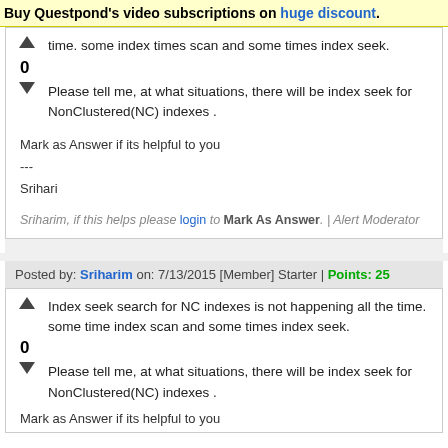Buy Questpond's video subscriptions on huge discount.
time. some index times scan and some times index seek.
0
Please tell me, at what situations, there will be index seek for NonClustered(NC) indexes .
Mark as Answer if its helpful to you
---
Srihari
Sriharim, if this helps please login to Mark As Answer. | Alert Moderator
Posted by: Sriharim on: 7/13/2015 [Member] Starter | Points: 25
Index seek search for NC indexes is not happening all the time. some time index scan and some times index seek.
0
Please tell me, at what situations, there will be index seek for NonClustered(NC) indexes .
Mark as Answer if its helpful to you